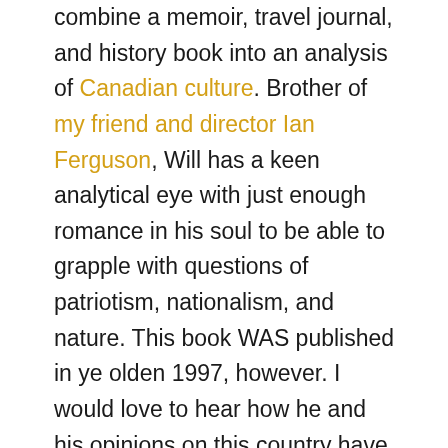combine a memoir, travel journal, and history book into an analysis of Canadian culture. Brother of my friend and director Ian Ferguson, Will has a keen analytical eye with just enough romance in his soul to be able to grapple with questions of patriotism, nationalism, and nature. This book WAS published in ye olden 1997, however. I would love to hear how he and his opinions on this country have shifted and changed with the collapse of the separatist movement and rise of the NDP. In the book, Will says, “The question is not whether Quebec will separate, but whether she will ever finally join us.” Have we now seen the next step toward that finally happening?